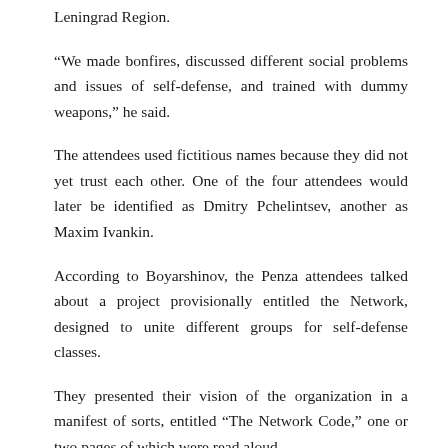Leningrad Region.
“We made bonfires, discussed different social problems and issues of self-defense, and trained with dummy weapons,” he said.
The attendees used fictitious names because they did not yet trust each other. One of the four attendees would later be identified as Dmitry Pchelintsev, another as Maxim Ivankin.
According to Boyarshinov, the Penza attendees talked about a project provisionally entitled the Network, designed to unite different groups for self-defense classes.
They presented their vision of the organization in a manifest of sorts, entitled “The Network Code,” one or two pages of which were read aloud.